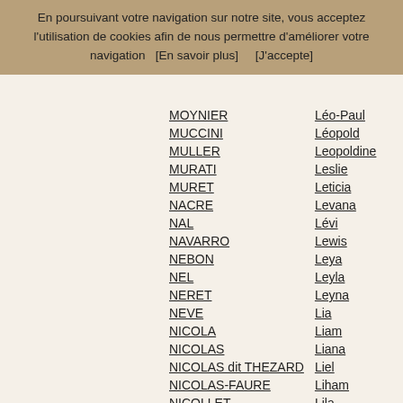En poursuivant votre navigation sur notre site, vous acceptez l'utilisation de cookies afin de nous permettre d'améliorer votre navigation   [En savoir plus]       [J'accepte]
MOYNIER — Léo-Paul
MUCCINI — Léopold
MULLER — Leopoldine
MURATI — Leslie
MURET — Leticia
NACRE — Levana
NAL — Lévi
NAVARRO — Lewis
NEBON — Leya
NEL — Leyla
NERET — Leyna
NEVE — Lia
NICOLA — Liam
NICOLAS — Liana
NICOLAS dit THEZARD — Liel
NICOLAS-FAURE — Liham
NICOLLET — Lila
NIEL — Lilas
NIELSEN — Lili
NIOGRET — Lilia
NIVOU — Lilian